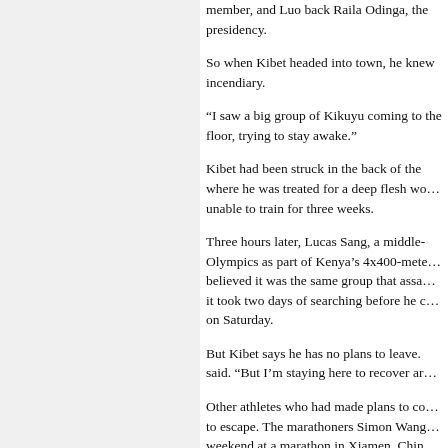member, and Luo back Raila Odinga, the presidency.
So when Kibet headed into town, he knew incendiary.
“I saw a big group of Kikuyu coming to the floor, trying to stay awake.”
Kibet had been struck in the back of the where he was treated for a deep flesh wound unable to train for three weeks.
Three hours later, Lucas Sang, a middle- Olympics as part of Kenya’s 4x400-meter believed it was the same group that assaulted it took two days of searching before he could on Saturday.
But Kibet says he has no plans to leave. said. “But I’m staying here to recover and
Other athletes who had made plans to compete to escape. The marathoners Simon Wang weekend at a marathon in Xiamen, China in central Kenya. Rioting has been especially